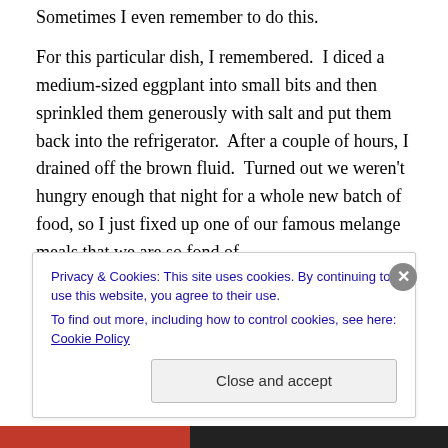Sometimes I even remember to do this.
For this particular dish, I remembered.  I diced a medium-sized eggplant into small bits and then sprinkled them generously with salt and put them back into the refrigerator.  After a couple of hours, I drained off the brown fluid.  Turned out we weren't hungry enough that night for a whole new batch of food, so I just fixed up one of our famous melange meals that we are so fond of.
Next day:  Well I can't remember why, but I didn't fix it that evening either.  I just drained off the accumulated brown
Privacy & Cookies: This site uses cookies. By continuing to use this website, you agree to their use.
To find out more, including how to control cookies, see here: Cookie Policy